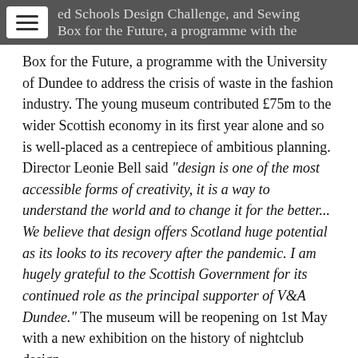ed Schools Design Challenge, and Sewing Box for the Future, a programme with the
Box for the Future, a programme with the University of Dundee to address the crisis of waste in the fashion industry. The young museum contributed £75m to the wider Scottish economy in its first year alone and so is well-placed as a centrepiece of ambitious planning. Director Leonie Bell said “design is one of the most accessible forms of creativity, it is a way to understand the world and to change it for the better... We believe that design offers Scotland huge potential as its looks to its recovery after the pandemic. I am hugely grateful to the Scottish Government for its continued role as the principal supporter of V&A Dundee.” The museum will be reopening on 1st May with a new exhibition on the history of nightclub design.